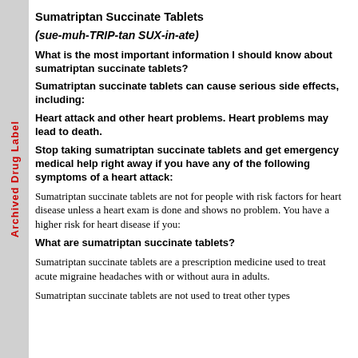Archived Drug Label
Sumatriptan Succinate Tablets
(sue-muh-TRIP-tan SUX-in-ate)
What is the most important information I should know about sumatriptan succinate tablets?
Sumatriptan succinate tablets can cause serious side effects, including:
Heart attack and other heart problems. Heart problems may lead to death.
Stop taking sumatriptan succinate tablets and get emergency medical help right away if you have any of the following symptoms of a heart attack:
Sumatriptan succinate tablets are not for people with risk factors for heart disease unless a heart exam is done and shows no problem. You have a higher risk for heart disease if you:
What are sumatriptan succinate tablets?
Sumatriptan succinate tablets are a prescription medicine used to treat acute migraine headaches with or without aura in adults.
Sumatriptan succinate tablets are not used to treat other types